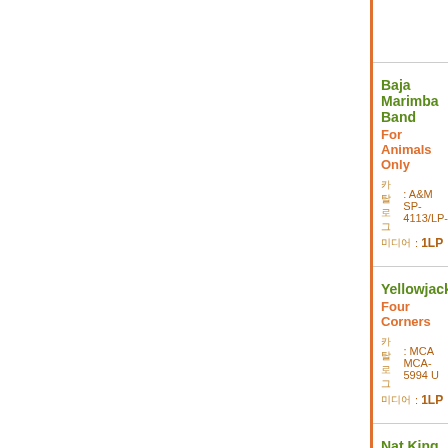Baja Marimba Band
For Animals Only
카탈로그 : A&M SP-4113/LP-...
미디어 : 1LP
Yellowjackets
Four Corners
카탈로그 : MCA MCA-5994 U...
미디어 : 1LP
Nat King Cole
The Collection; 20 Gold...
카탈로그 : Deja Vu DVLP-204...
미디어 : 1LP
Supersax
L.A.
카탈로그 : Columbia FC-3914...
미디어 : 1LP